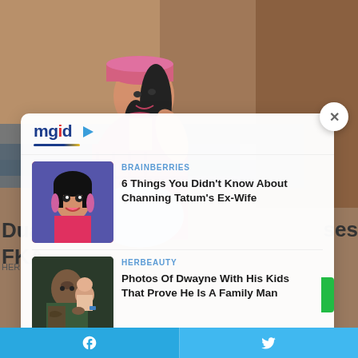[Figure (photo): Background photo of a woman lying back outdoors near water and rocks, wearing a pink cap and plaid shirt]
[Figure (screenshot): MGID content recommendation widget with logo, close button, and two article cards]
BRAINBERRIES
6 Things You Didn't Know About Channing Tatum's Ex-Wife
HERBEAUTY
Photos Of Dwayne With His Kids That Prove He Is A Family Man
Dua
FKA
Facebook share | Twitter share